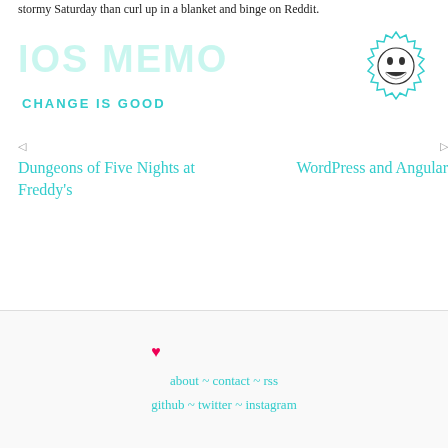stormy Saturday than curl up in a blanket and binge on Reddit.
[Figure (logo): Blog logo: teal outlined text 'IOS MEMO' in large bold font with teal color overlay, and subtitle 'CHANGE IS GOOD' in teal capitals]
[Figure (illustration): Hand-drawn cartoon face inside a jagged circular/gear-shaped border, smiling character with closed eyes]
Dungeons of Five Nights at Freddy's
WordPress and Angular
♥ about ~ contact ~ rss github ~ twitter ~ instagram